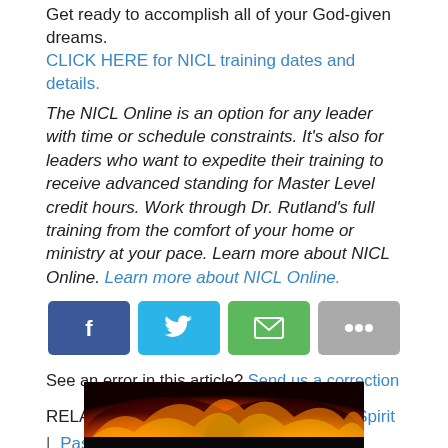Get ready to accomplish all of your God-given dreams. CLICK HERE for NICL training dates and details.
The NICL Online is an option for any leader with time or schedule constraints. It's also for leaders who want to expedite their training to receive advanced standing for Master Level credit hours. Work through Dr. Rutland's full training from the comfort of your home or ministry at your pace. Learn more about NICL Online. Learn more about NICL Online.
[Figure (other): Social share buttons: Facebook (dark blue), Twitter (light blue), Email (green), More options (gray)]
See an error in this article? Send us a correction
RELATED TOPICS: Dan Reiland | Holy Spirit | Pastor | pastoring | team
[Figure (photo): Fire/flames image at bottom of page]